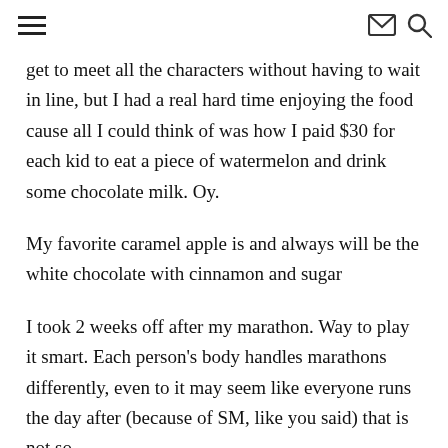☰  ✉ 🔍
get to meet all the characters without having to wait in line, but I had a real hard time enjoying the food cause all I could think of was how I paid $30 for each kid to eat a piece of watermelon and drink some chocolate milk. Oy.
My favorite caramel apple is and always will be the white chocolate with cinnamon and sugar
I took 2 weeks off after my marathon. Way to play it smart. Each person's body handles marathons differently, even to it may seem like everyone runs the day after (because of SM, like you said) that is not so
This trip makes me want to go back to RI, so bad. Will